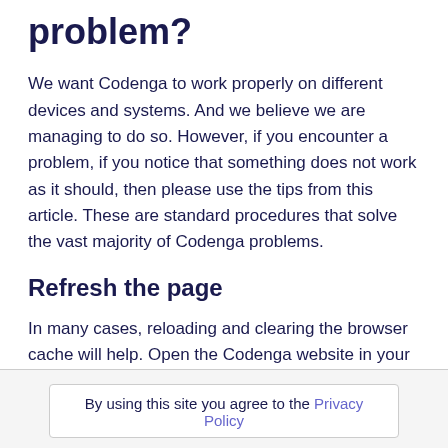problem?
We want Codenga to work properly on different devices and systems. And we believe we are managing to do so. However, if you encounter a problem, if you notice that something does not work as it should, then please use the tips from this article. These are standard procedures that solve the vast majority of Codenga problems.
Refresh the page
In many cases, reloading and clearing the browser cache will help. Open the Codenga website in your browser and try the following steps.
By using this site you agree to the Privacy Policy